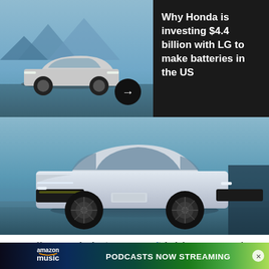[Figure (screenshot): Pop Science article card with Honda electric SUV concept car image on dark background, progress bar at top, POP SCI logo, three-dot menu, X close button, and arrow button. Headline reads: Why Honda is investing $4.4 billion with LG to make batteries in the US]
Why Honda is investing $4.4 billion with LG to make batteries in the US
[Figure (photo): Honda electric concept SUV (silver/white) photographed in a stylized blue-toned environment, front three-quarter view]
In an effort to study the (controversial) link between cannabis use and psychosis, researchers from three London universities examined the brains of pot smoke[rs]...
[Figure (screenshot): Amazon Music advertisement banner: 'amazon music PODCASTS NOW STREAMING' on a colorful gradient background (dark to green/yellow)]